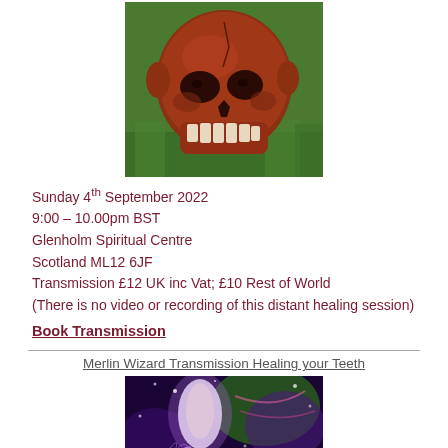[Figure (photo): A red/terracotta carved crystal skull sitting on green grass, viewed from a slight angle showing the face and teeth.]
Sunday 4th September 2022
9:00 – 10.00pm BST
Glenholm Spiritual Centre
Scotland ML12 6JF
Transmission £12 UK inc Vat; £10 Rest of World
(There is no video or recording of this distant healing session)
Book Transmission
Merlin Wizard Transmission Healing your Teeth
[Figure (illustration): A mystical wizard figure with bright white/purple light energy surrounded by colorful cosmic swirls of green, purple and pink against a dark background.]